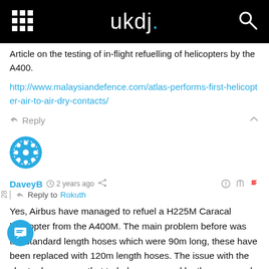ukdj.
Article on the testing of in-flight refuelling of helicopters by the A400.
http://www.malaysiandefence.com/atlas-performs-first-helicopter-air-to-air-dry-contacts/
Reply
DaveyB  2 years ago  Reply to Rokuth
Yes, Airbus have managed to refuel a H225M Caracal helicopter from the A400M. The main problem before was the standard length hoses which were 90m long, these have been replaced with 120m length hoses. The issue with the shorter hoses was that turbulence caused by the prop wash forced them up towards the T-tail. Also because the helicopter had to get closer to the